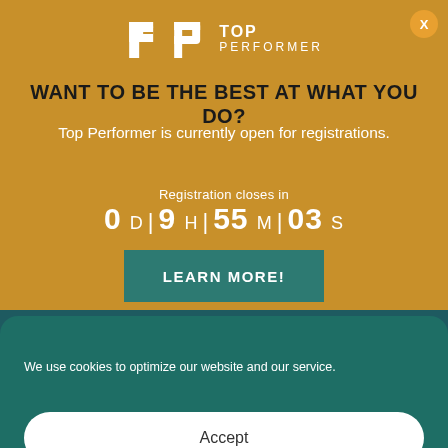[Figure (logo): Top Performer logo with stylized P icon and text TOP PERFORMER]
WANT TO BE THE BEST AT WHAT YOU DO?
Top Performer is currently open for registrations.
Registration closes in
0 D | 9 H | 55 M | 03 S
LEARN MORE!
We use cookies to optimize our website and our service.
Accept
Cookie Policy  Privacy Policy